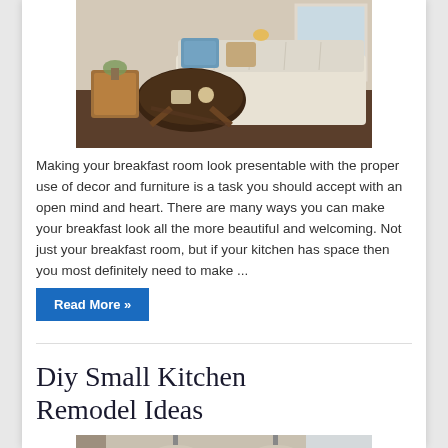[Figure (photo): Interior photo of a breakfast room with a cream/beige tufted sofa, dark wooden coffee table, and decorative pillows in blue and tan tones]
Making your breakfast room look presentable with the proper use of decor and furniture is a task you should accept with an open mind and heart. There are many ways you can make your breakfast look all the more beautiful and welcoming. Not just your breakfast room, but if your kitchen has space then you most definitely need to make ...
Read More »
Diy Small Kitchen Remodel Ideas
[Figure (photo): Partial photo of a kitchen interior visible at the bottom of the page]